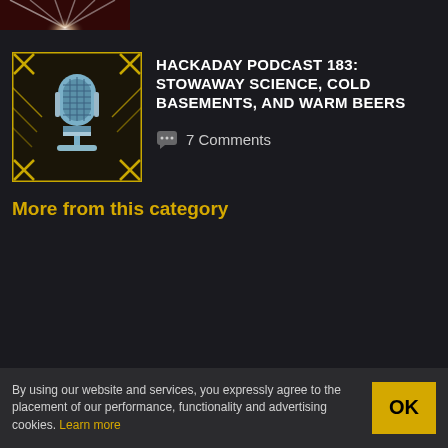[Figure (photo): Partial top image showing a dark reddish scene with bright light in center, clipped at top of page]
[Figure (illustration): Hackaday podcast thumbnail: retro microphone illustration in blue/gray on dark background with yellow geometric border design]
HACKADAY PODCAST 183: STOWAWAY SCIENCE, COLD BASEMENTS, AND WARM BEERS
7 Comments
More from this category
By using our website and services, you expressly agree to the placement of our performance, functionality and advertising cookies. Learn more